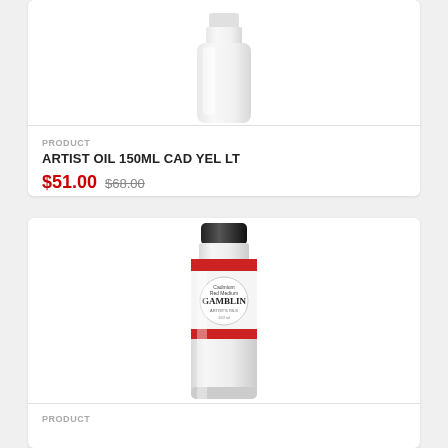[Figure (photo): Top portion of a white paint tube with no visible label, cropped at top]
PRODUCT
ARTIST OIL 150ML CAD YEL LT
$51.00 $68.00
[Figure (photo): Gamblin Artist Oil paint tube, 150ml, Cadmium Red Medium color, white tube with red label band and black cap]
PRODUCT